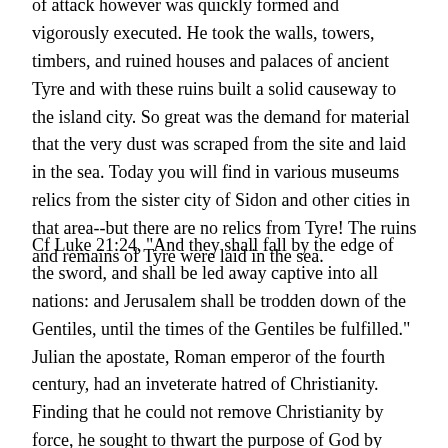of attack however was quickly formed and vigorously executed. He took the walls, towers, timbers, and ruined houses and palaces of ancient Tyre and with these ruins built a solid causeway to the island city. So great was the demand for material that the very dust was scraped from the site and laid in the sea. Today you will find in various museums relics from the sister city of Sidon and other cities in that area--but there are no relics from Tyre! The ruins and remains of Tyre were laid in the sea.
Cf Luke 21:24, "And they shall fall by the edge of the sword, and shall be led away captive into all nations: and Jerusalem shall be trodden down of the Gentiles, until the times of the Gentiles be fulfilled." Julian the apostate, Roman emperor of the fourth century, had an inveterate hatred of Christianity. Finding that he could not remove Christianity by force, he sought to thwart the purpose of God by causing the predictions